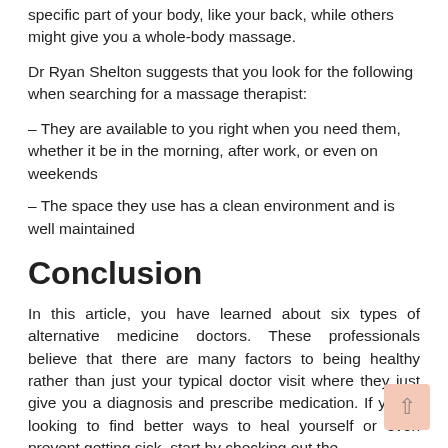specific part of your body, like your back, while others might give you a whole-body massage.
Dr Ryan Shelton suggests that you look for the following when searching for a massage therapist:
– They are available to you right when you need them, whether it be in the morning, after work, or even on weekends
– The space they use has a clean environment and is well maintained
Conclusion
In this article, you have learned about six types of alternative medicine doctors. These professionals believe that there are many factors to being healthy rather than just your typical doctor visit where they just give you a diagnosis and prescribe medication. If you're looking to find better ways to heal yourself or even prevent getting sick, start by checking out the different types of doctors that are listed here.